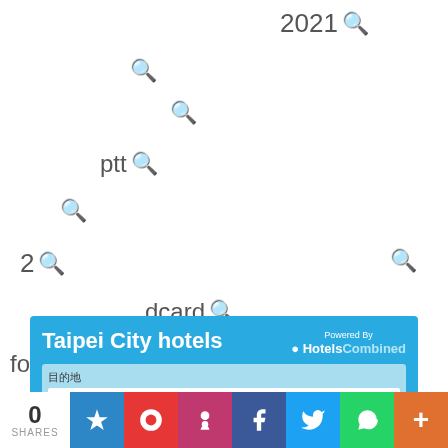[Figure (infographic): Word cloud with search icons showing terms: 2021, ptt, 2, dcard, foodpanda, with teal search magnifier icons scattered around]
[Figure (screenshot): Taipei City hotels booking widget powered by HotelsCombined with destination input, date pickers]
[Figure (infographic): Social share bar showing 0 SHARES and buttons for various social networks: star/bookmark, Weibo, Pinterest-like, Facebook, Twitter, WhatsApp, plus]